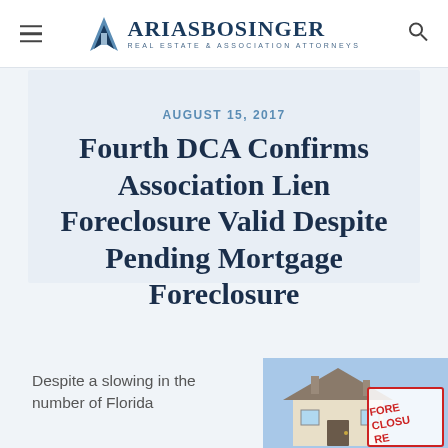Arias Bosinger — Real Estate & Association Attorneys
AUGUST 15, 2017
Fourth DCA Confirms Association Lien Foreclosure Valid Despite Pending Mortgage Foreclosure
Despite a slowing in the number of Florida